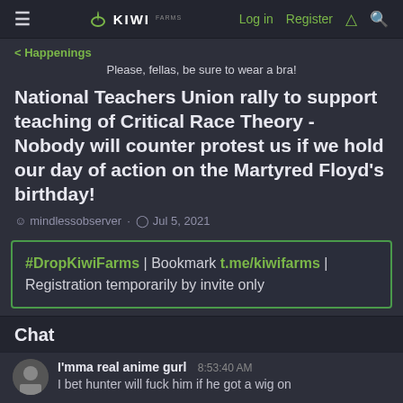KIWI | Log in  Register
< Happenings
Please, fellas, be sure to wear a bra!
National Teachers Union rally to support teaching of Critical Race Theory - Nobody will counter protest us if we hold our day of action on the Martyred Floyd's birthday!
mindlessobserver · Jul 5, 2021
#DropKiwiFarms | Bookmark t.me/kiwifarms | Registration temporarily by invite only
Chat
I'mma real anime gurl  8:53:40 AM
I bet hunter will fuck him if he got a wig on